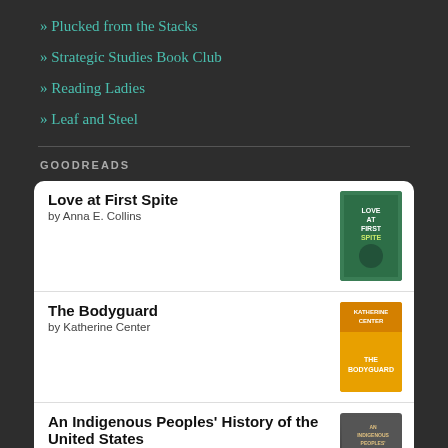» Plucked from the Stacks
» Strategic Studies Book Club
» Reading Ladies
» Leaf and Steel
GOODREADS
| Title/Author | Cover |
| --- | --- |
| Love at First Spite by Anna E. Collins | [book cover] |
| The Bodyguard by Katherine Center | [book cover] |
| An Indigenous Peoples' History of the United States by Roxanne Dunbar-Ortiz | [book cover] |